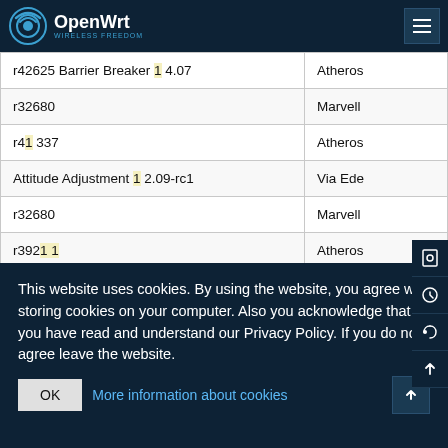OpenWrt
| Version | Platform |
| --- | --- |
| r42625 Barrier Breaker 14.07 | Atheros |
| r32680 | Marvell |
| r41337 | Atheros |
| Attitude Adjustment 12.09-rc1 | Via Edenl |
| r32680 | Marvell |
| r39211 | Atheros |
| r39770 | Atheros |
| r39469 (mtune=24kc) | Atheros |
| r33883 | Atheros |
This website uses cookies. By using the website, you agree with storing cookies on your computer. Also you acknowledge that you have read and understand our Privacy Policy. If you do not agree leave the website.
OK
More information about cookies